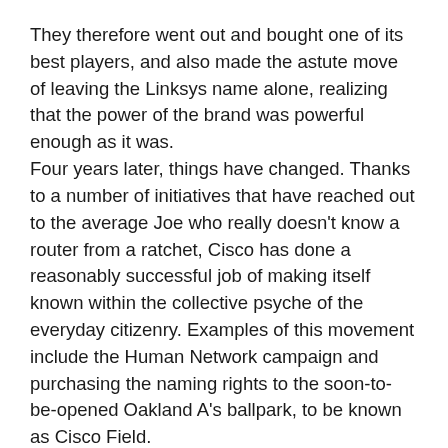They therefore went out and bought one of its best players, and also made the astute move of leaving the Linksys name alone, realizing that the power of the brand was powerful enough as it was.
Four years later, things have changed. Thanks to a number of initiatives that have reached out to the average Joe who really doesn’t know a router from a ratchet, Cisco has done a reasonably successful job of making itself known within the collective psyche of the everyday citizenry. Examples of this movement include the Human Network campaign and purchasing the naming rights to the soon-to-be-opened Oakland A’s ballpark, to be known as Cisco Field.
Because of this newfound awareness of the Cisco name, the primary reason for maintaining the Linksys brand has essentially disappeared. It now makes